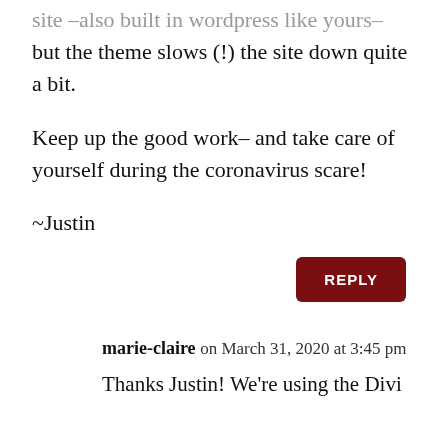site –also built in wordpress like yours–
but the theme slows (!) the site down quite a bit.

Keep up the good work– and take care of yourself during the coronavirus scare!

~Justin
REPLY
marie-claire on March 31, 2020 at 3:45 pm
Thanks Justin! We're using the Divi